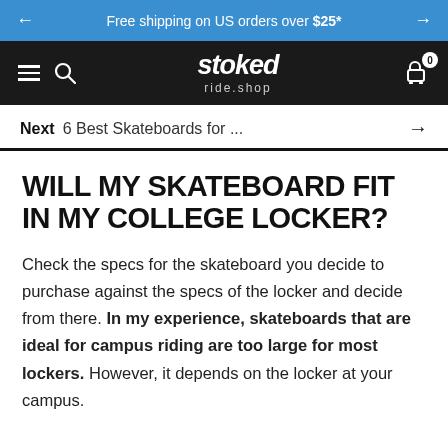Free shipping on US orders over $25*
[Figure (logo): Stoked ride.shop logo in white on dark background, with hamburger menu, search icon, and cart icon with badge showing 0]
Next  6 Best Skateboards for ...  →
WILL MY SKATEBOARD FIT IN MY COLLEGE LOCKER?
Check the specs for the skateboard you decide to purchase against the specs of the locker and decide from there. In my experience, skateboards that are ideal for campus riding are too large for most lockers. However, it depends on the locker at your campus.